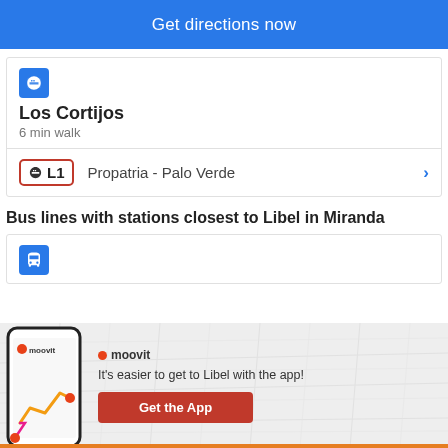Get directions now
Los Cortijos
6 min walk
L1  Propatria - Palo Verde
Bus lines with stations closest to Libel in Miranda
[Figure (screenshot): Moovit app promo banner with phone mockup showing route map, moovit logo, text 'It's easier to get to Libel with the app!' and 'Get the App' button]